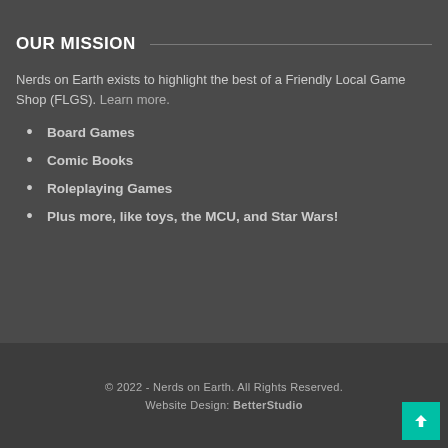About Us
OUR MISSION
Nerds on Earth exists to highlight the best of a Friendly Local Game Shop (FLGS). Learn more.
Board Games
Comic Books
Roleplaying Games
Plus more, like toys, the MCU, and Star Wars!
© 2022 - Nerds on Earth. All Rights Reserved.
Website Design: BetterStudio